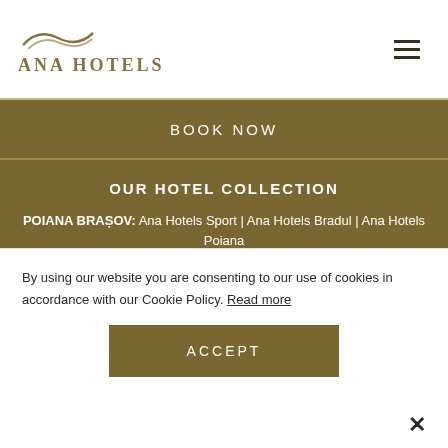[Figure (logo): Ana Hotels logo with wave icon and text]
BOOK NOW
OUR HOTEL COLLECTION
POIANA BRAȘOV: Ana Hotels Sport | Ana Hotels Bradul | Ana Hotels Poiana
BUCHAREST: Athénée Palace Hilton Bucharest | Crowne Plaza Hotel Bucharest
EFORIE NORD: Ana Hotels Europa
By using our website you are consenting to our use of cookies in accordance with our Cookie Policy. Read more
ACCEPT